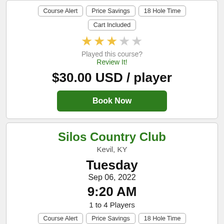Course Alert
Price Savings
18 Hole Time
Cart Included
[Figure (illustration): 3 filled gold stars and 2 empty grey stars rating]
Played this course?
Review It!
$30.00 USD / player
Book Now
Silos Country Club
Kevil, KY
Tuesday
Sep 06, 2022
9:20 AM
1 to 4 Players